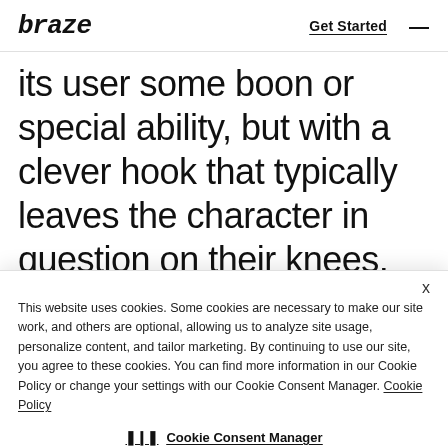braze | Get Started
its user some boon or special ability, but with a clever hook that typically leaves the character in question on their knees, shaking their fists at the
This website uses cookies. Some cookies are necessary to make our site work, and others are optional, allowing us to analyze site usage, personalize content, and tailor marketing. By continuing to use our site, you agree to these cookies. You can find more information in our Cookie Policy or change your settings with our Cookie Consent Manager. Cookie Policy
Cookie Consent Manager
consumers when they're not actively